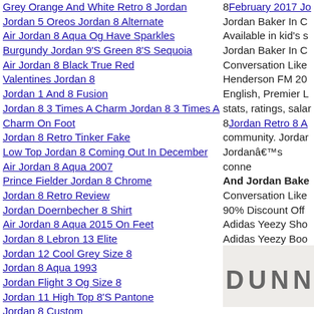Grey Orange And White Retro 8 Jordan
Jordan 5 Oreos Jordan 8 Alternate
Air Jordan 8 Aqua Og Have Sparkles
Burgundy Jordan 9'S Green 8'S Sequoia
Air Jordan 8 Black True Red
Valentines Jordan 8
Jordan 1 And 8 Fusion
Jordan 8 3 Times A Charm Jordan 8 3 Times A Charm On Foot
Jordan 8 Retro Tinker Fake
Low Top Jordan 8 Coming Out In December
Air Jordan 8 Aqua 2007
Prince Fielder Jordan 8 Chrome
Jordan 8 Retro Review
Jordan Doernbecher 8 Shirt
Air Jordan 8 Aqua 2015 On Feet
Jordan 8 Lebron 13 Elite
Jordan 12 Cool Grey Size 8
Jordan 8 Aqua 1993
Jordan Flight 3 Og Size 8
Jordan 11 High Top 8'S Pantone
Jordan 8 Custom
8February 2017 Jo
Jordan Baker In C
Available in kid's s
Jordan Baker In C
Conversation Like
Henderson FM 20
English, Premier L
stats, ratings, salar
8Jordan Retro 8 A
community. Jordar
Jordanâ€™s conne
And Jordan Bake
Conversation Like
90% Discount Off
Adidas Yeezy Sho
Adidas Yeezy Boo
Welcome Your Vis
[Figure (photo): Partial image showing letters DUNN in bold gray text on a light background, appears to be a logo or brand image]